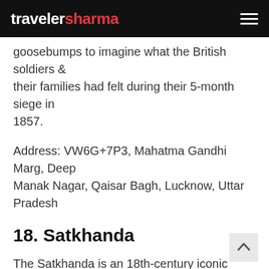travelersharma
goosebumps to imagine what the British soldiers & their families had felt during their 5-month siege in 1857.
Address: VW6G+7P3, Mahatma Gandhi Marg, Deep Manak Nagar, Qaisar Bagh, Lucknow, Uttar Pradesh
18. Satkhanda
The Satkhanda is an 18th-century iconic watch tower in Lucknow city of Uttar Pradesh. It is a historical landmark and one of the popular tourist attractions of Lucknow tourism. Satkhanda is a red brick watch tower and is located near Clock Tower. A must-visit tourist site in Lucknow for history lovers.
Address: VWF4+X9X, Husainabad Trust Road, Husainabad, Lucknow, Uttar Pradesh